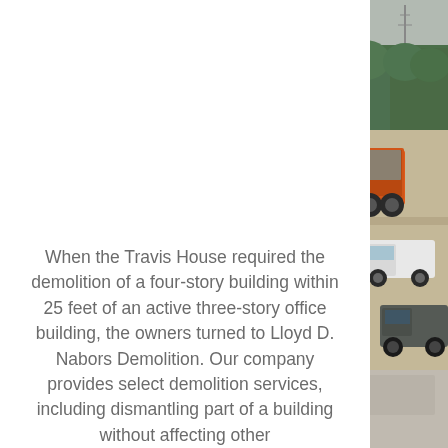[Figure (photo): Outdoor photo showing construction/demolition trucks on a road, with green trees in the background and a grey sky. An orange dump truck is visible along with white and dark vehicles parked on the right side.]
When the Travis House required the demolition of a four-story building within 25 feet of an active three-story office building, the owners turned to Lloyd D. Nabors Demolition. Our company provides select demolition services, including dismantling part of a building without affecting other